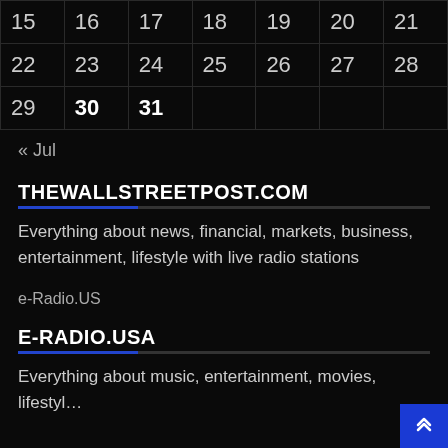| 15 | 16 | 17 | 18 | 19 | 20 | 21 |
| 22 | 23 | 24 | 25 | 26 | 27 | 28 |
| 29 | 30 | 31 |  |  |  |  |
« Jul
THEWALLSTREETPOST.COM
Everything about news, financial, markets, business, entertainment, lifestyle with live radio stations
e-Radio.US
E-RADIO.USA
Everything about music, entertainment, movies, lifestyle…